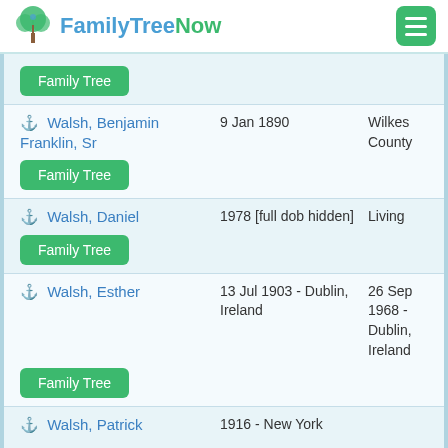FamilyTreeNow
Family Tree
Walsh, Benjamin Franklin, Sr — 9 Jan 1890 — Wilkes County — Family Tree
Walsh, Daniel — 1978 [full dob hidden] — Living — Family Tree
Walsh, Esther — 13 Jul 1903 - Dublin, Ireland — 26 Sep 1968 - Dublin, Ireland — Family Tree
Walsh, Patrick — 1916 - New York